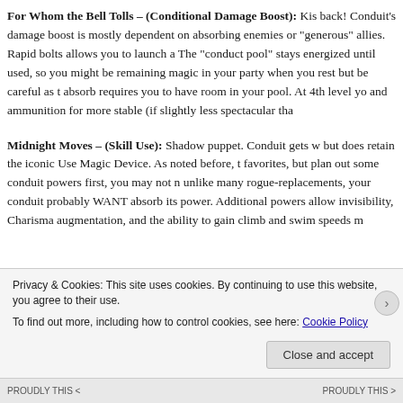For Whom the Bell Tolls – (Conditional Damage Boost): Kiss back! Conduit's damage boost is mostly dependent on absorbing enemies or "generous" allies. Rapid bolts allows you to launch a. The "conduct pool" stays energized until used, so you might be remaining magic in your party when you rest but be careful as the absorb requires you to have room in your pool. At 4th level you and ammunition for more stable (if slightly less spectacular than
Midnight Moves – (Skill Use): Shadow puppet. Conduit gets w but does retain the iconic Use Magic Device. As noted before, t favorites, but plan out some conduit powers first, you may not n unlike many rogue-replacements, your conduit probably WANT absorb its power. Additional powers allow invisibility, Charisma augmentation, and the ability to gain climb and swim speeds ma
Privacy & Cookies: This site uses cookies. By continuing to use this website, you agree to their use.
To find out more, including how to control cookies, see here: Cookie Policy